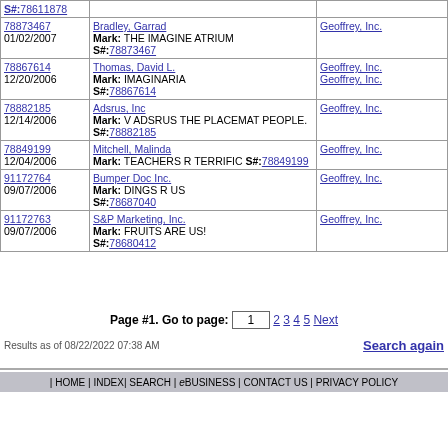| Number/Date | Applicant / Mark / Serial# | Defendant |
| --- | --- | --- |
| 78611878 (S#) |  |  |
| 78873467
01/02/2007 | Bradley, Garrad
Mark: THE IMAGINE ATRIUM
S#:78873467 | Geoffrey, Inc. |
| 78867614
12/20/2006 | Thomas, David L.
Mark: IMAGINARIA
S#:78867614 | Geoffrey, Inc.
Geoffrey, Inc. |
| 78882185
12/14/2006 | Adsrus, Inc
Mark: V ADSRUS THE PLACEMAT PEOPLE.
S#:78882185 | Geoffrey, Inc. |
| 78849199
12/04/2006 | Mitchell, Malinda
Mark: TEACHERS R TERRIFIC S#:78849199 | Geoffrey, Inc. |
| 91172764
09/07/2006 | Bumper Doc Inc.
Mark: DINGS R US
S#:78687040 | Geoffrey, Inc. |
| 91172763
09/07/2006 | S&P Marketing, Inc.
Mark: FRUITS ARE US!
S#:78680412 | Geoffrey, Inc. |
Page #1. Go to page: 1  2 3 4 5 Next
Results as of 08/22/2022 07:38 AM
Search again
| HOME | INDEX| SEARCH | eBUSINESS | CONTACT US | PRIVACY POLICY